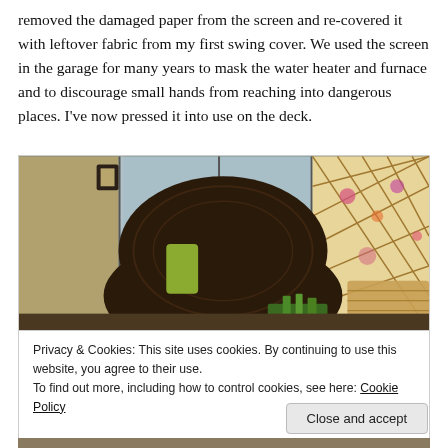removed the damaged paper from the screen and re-covered it with leftover fabric from my first swing cover. We used the screen in the garage for many years to mask the water heater and furnace and to discourage small hands from reaching into dangerous places. I've now pressed it into use on the deck.
[Figure (photo): Outdoor deck scene showing a dark wicker chair with green cushion, a decorative lattice screen with floral fabric panels in the background, a wall-mounted lantern light, and a wicker basket on the right.]
Privacy & Cookies: This site uses cookies. By continuing to use this website, you agree to their use.
To find out more, including how to control cookies, see here: Cookie Policy
Close and accept
[Figure (photo): Partial view of another outdoor/garden scene at the bottom of the page.]